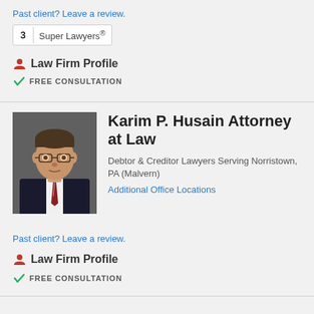Past client? Leave a review.
[Figure (other): Super Lawyers badge showing number 3 and Super Lawyers text]
Law Firm Profile
FREE CONSULTATION
[Figure (photo): Professional headshot of Karim P. Husain, a man in a suit and tie with glasses]
Karim P. Husain Attorney at Law
Debtor & Creditor Lawyers Serving Norristown, PA (Malvern)
Additional Office Locations
Past client? Leave a review.
Law Firm Profile
FREE CONSULTATION